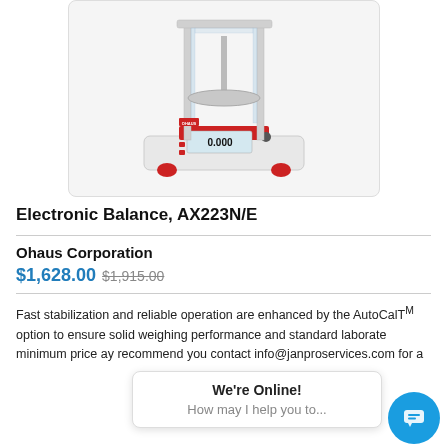[Figure (photo): Photo of Ohaus Electronic Balance AX223N/E laboratory scale with glass enclosure and digital display showing 0.000]
Electronic Balance, AX223N/E
Ohaus Corporation
$1,628.00 $1,915.00
Fast stabilization and reliable operation are enhanced by the AutoCalTM option to ensure solid weighing performance and... standard laboratory... minimum price and... recommend you contact info@janproservices.com for a
We're Online! How may I help you to...